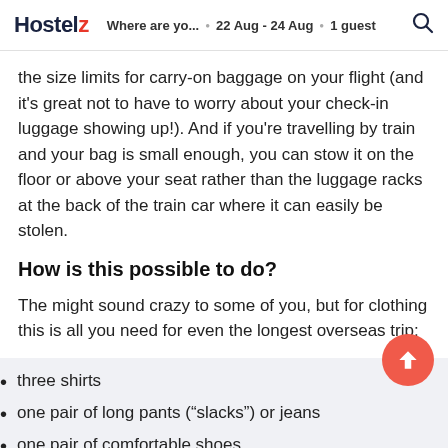Hostelz  Where are yo...  22 Aug - 24 Aug  1 guest
the size limits for carry-on baggage on your flight (and it's great not to have to worry about your check-in luggage showing up!). And if you're travelling by train and your bag is small enough, you can stow it on the floor or above your seat rather than the luggage racks at the back of the train car where it can easily be stolen.
How is this possible to do?
The might sound crazy to some of you, but for clothing this is all you need for even the longest overseas trip:
three shirts
one pair of long pants (“slacks”) or jeans
one pair of comfortable shoes
one pair of shorts (guys can use them as...